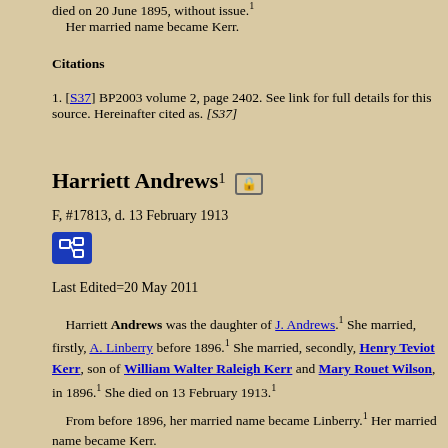died on 20 June 1895, without issue.¹ Her married name became Kerr.
Citations
[S37] BP2003 volume 2, page 2402. See link for full details for this source. Hereinafter cited as. [S37]
Harriett Andrews¹
F, #17813, d. 13 February 1913
Last Edited=20 May 2011
Harriett Andrews was the daughter of J. Andrews.¹ She married, firstly, A. Linberry before 1896.¹ She married, secondly, Henry Teviot Kerr, son of William Walter Raleigh Kerr and Mary Rouet Wilson, in 1896.¹ She died on 13 February 1913.¹
From before 1896, her married name became Linberry.¹ Her married name became Kerr.